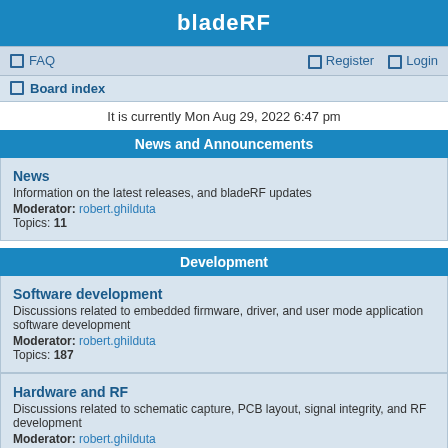bladeRF
FAQ   Register   Login
Board index
It is currently Mon Aug 29, 2022 6:47 pm
News and Announcements
News
Information on the latest releases, and bladeRF updates
Moderator: robert.ghilduta
Topics: 11
Development
Software development
Discussions related to embedded firmware, driver, and user mode application software development
Moderator: robert.ghilduta
Topics: 187
Hardware and RF
Discussions related to schematic capture, PCB layout, signal integrity, and RF development
Moderator: robert.ghilduta
Topics: 129
Digital Signal Processing
Discussions related to modulation techniques, filtering, error correction and